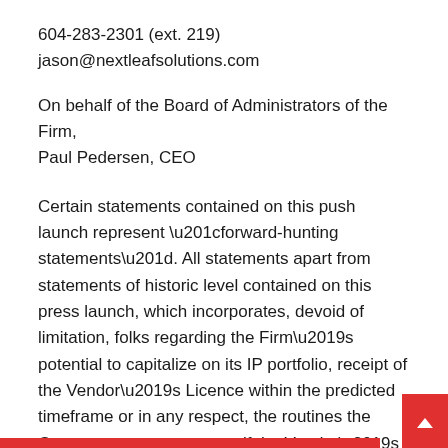604-283-2301 (ext. 219)
jason@nextleafsolutions.com
On behalf of the Board of Administrators of the Firm,
Paul Pedersen, CEO
Certain statements contained on this push launch represent “forward-hunting statements”. All statements apart from statements of historic level contained on this press launch, which incorporates, devoid of limitation, folks regarding the Firm’s potential to capitalize on its IP portfolio, receipt of the Vendor’s Licence within the predicted timeframe or in any respect, the routines the Group expects to carry out if the Vendor’s Licence, the aptitude of the Group to develop and guard mental home regarding psychedelics, the expected advantages to the Firm if the Vendor’s Licence is gained, the Vendor’s License serving to the corporate in buying a one in